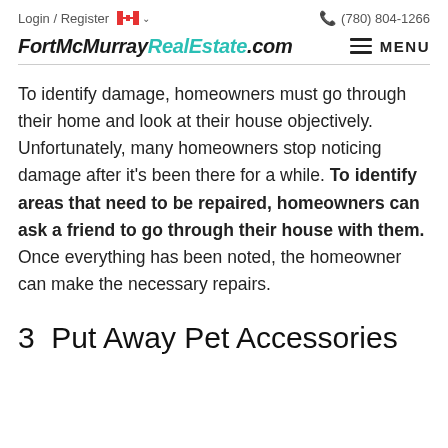Login / Register  (780) 804-1266
FortMcMurray RealEstate .com  MENU
To identify damage, homeowners must go through their home and look at their house objectively. Unfortunately, many homeowners stop noticing damage after it's been there for a while. To identify areas that need to be repaired, homeowners can ask a friend to go through their house with them. Once everything has been noted, the homeowner can make the necessary repairs.
3  Put Away Pet Accessories